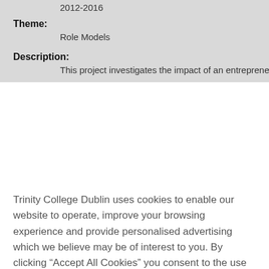2012-2016
Theme:
Role Models
Description:
This project investigates the impact of an entrepreneurship
Trinity College Dublin uses cookies to enable our website to operate, improve your browsing experience and provide personalised advertising which we believe may be of interest to you. By clicking “Accept All Cookies” you consent to the use of all cookies including social media and advertising cookies. You can choose to not accept certain cookies however this may impact on your browsing experience. Select “Cookies Settings” to find out more and customise your preferences. For further information please see our Cookie Policy